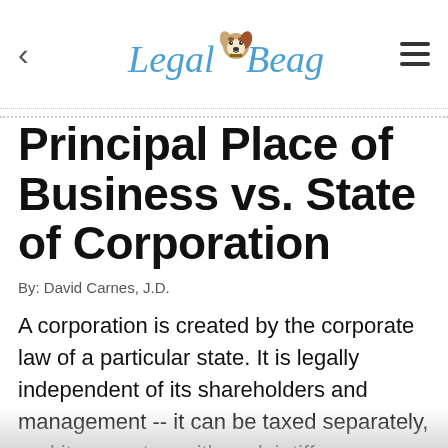Legal Beagle
Principal Place of Business vs. State of Corporation
By: David Carnes, J.D.
A corporation is created by the corporate law of a particular state. It is legally independent of its shareholders and management -- it can be taxed separately, and it can act as either plaintiff or defendant in a lawsuit. Although a corporation is an